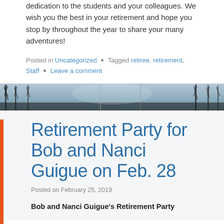dedication to the students and your colleagues. We wish you the best in your retirement and hope you stop by throughout the year to share your many adventures!
Posted in Uncategorized • Tagged retiree, retirement, Staff • Leave a comment
[Figure (photo): Banner photo of bare winter trees against a blue-grey sky]
Retirement Party for Bob and Nanci Guigue on Feb. 28
Posted on February 25, 2019
Bob and Nanci Guigue's Retirement Party